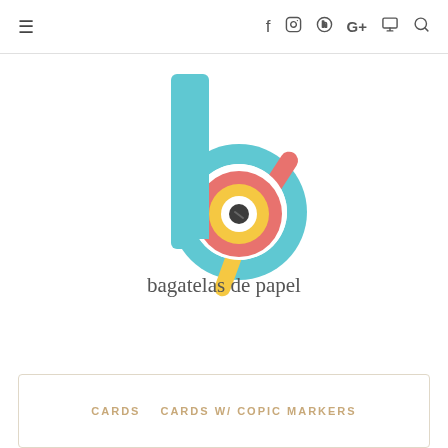≡  f  ⊙  ⊗  G+  ▶  🔍
[Figure (logo): Bagatelas de Papel logo: a stylized letter 'b' composed of a teal/sky-blue rounded letterform with a red/coral circular spiral element resembling a copic marker or quilling coil, a yellow diagonal stem, and dark center dot. Beneath the graphic: 'bagatelas de papel' in dark grey serif-style lowercase lettering.]
CARDS  CARDS W/ COPIC MARKERS